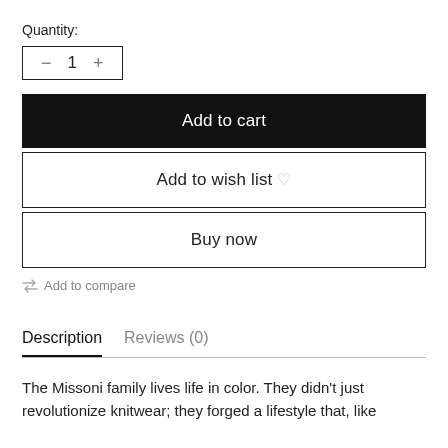Quantity:
− 1 +
Add to cart
Add to wish list ♡
Buy now
⇄ Add to compare
Description   Reviews (0)
The Missoni family lives life in color. They didn't just revolutionize knitwear; they forged a lifestyle that, like